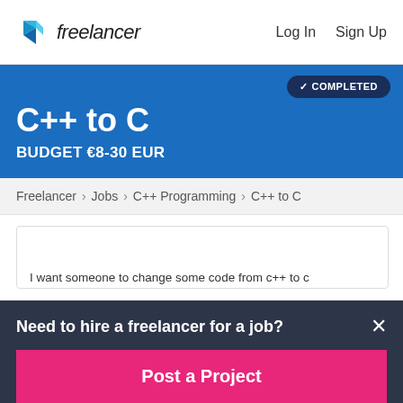freelancer   Log In   Sign Up
C++ to C
BUDGET €8-30 EUR
✓ COMPLETED
Freelancer › Jobs › C++ Programming › C++ to C
I want someone to change some code from c++ to c
Need to hire a freelancer for a job?
Post a Project